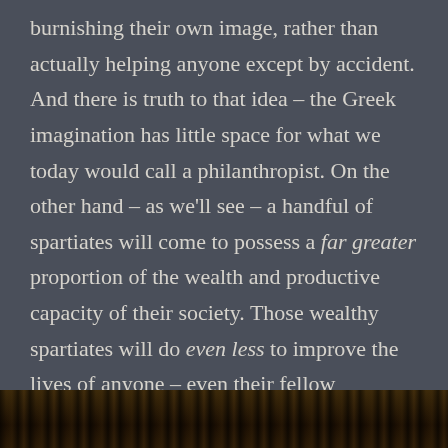burnishing their own image, rather than actually helping anyone except by accident. And there is truth to that idea – the Greek imagination has little space for what we today would call a philanthropist. On the other hand – as we'll see – a handful of spartiates will come to possess a far greater proportion of the wealth and productive capacity of their society. Those wealthy spartiates will do even less to improve the lives of anyone – even their fellow spartiates. Moreover, following the beginning of Spartan austerity in the 550s, Sparta will produce no great artwork, no advances in architecture, no great works of literature – nothing to push the bounds of human achievement, to raise the human spirit.
[Figure (photo): Bottom portion of a dark historical photograph showing what appears to be figures or soldiers, partially visible at the bottom edge of the page.]